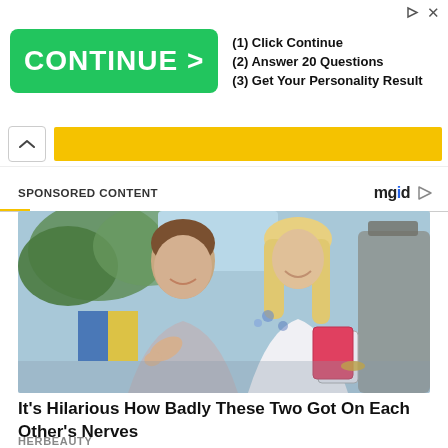[Figure (screenshot): Advertisement banner with green CONTINUE > button and steps: (1) Click Continue, (2) Answer 20 Questions, (3) Get Your Personality Result]
[Figure (screenshot): Yellow navigation/quiz bar with a chevron-up button on the left and a yellow block on the right]
SPONSORED CONTENT
[Figure (logo): mgid logo with play icon]
[Figure (photo): A man and woman sitting outdoors, smiling. The woman holds playing cards. The man is in a grey shirt making a finger-gun gesture.]
It's Hilarious How Badly These Two Got On Each Other's Nerves
HERBEAUTY